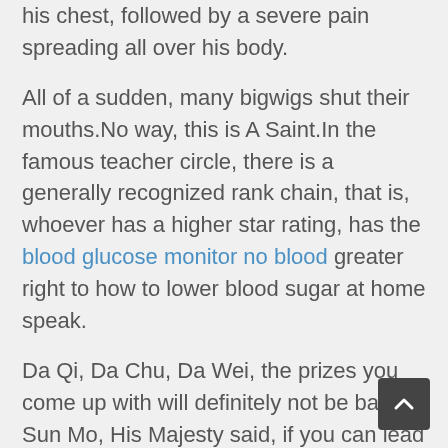his chest, followed by a severe pain spreading all over his body.
All of a sudden, many bigwigs shut their mouths.No way, this is A Saint.In the famous teacher circle, there is a generally recognized rank chain, that is, whoever has a higher star rating, has the blood glucose monitor no blood greater right to how to lower blood sugar at home speak.
Da Qi, Da Chu, Da Wei, the prizes you come up with will definitely not be bad, Sun Mo, His Majesty said, if you can lead how to lower a1c to under 7 the prince is regiment and win the championship, there are three prizes, let you choose one first, In addition, there are other rewards.